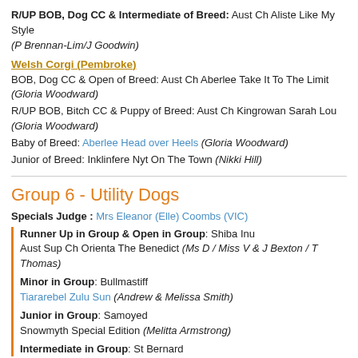R/UP BOB, Dog CC & Intermediate of Breed: Aust Ch Aliste Like My Style (P Brennan-Lim/J Goodwin)
Welsh Corgi (Pembroke)
BOB, Dog CC & Open of Breed: Aust Ch Aberlee Take It To The Limit (Gloria Woodward)
R/UP BOB, Bitch CC & Puppy of Breed: Aust Ch Kingrowan Sarah Lou (Gloria Woodward)
Baby of Breed: Aberlee Head over Heels (Gloria Woodward)
Junior of Breed: Inklinfere Nyt On The Town (Nikki Hill)
Group 6 - Utility Dogs
Specials Judge : Mrs Eleanor (Elle) Coombs (VIC)
Runner Up in Group & Open in Group: Shiba Inu Aust Sup Ch Orienta The Benedict (Ms D / Miss V & J Bexton / T Thomas)
Minor in Group: Bullmastiff Tiararebel Zulu Sun (Andrew & Melissa Smith)
Junior in Group: Samoyed Snowmyth Special Edition (Melitta Armstrong)
Intermediate in Group: St Bernard